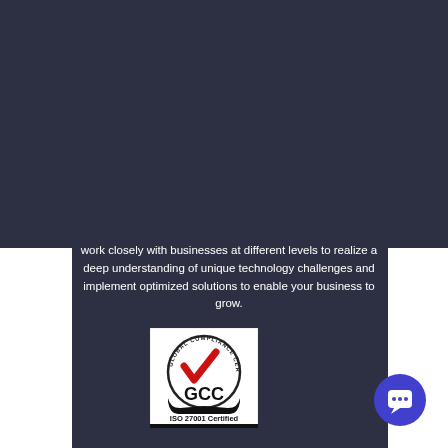work closely with businesses at different levels to realize a deep understanding of unique technology challenges and implement optimized solutions to enable your business to grow.
[Figure (logo): GCC Global Compliance Certification ISO 27001 Certified logo — circular badge with red checkmark and GCC text]
[Figure (other): Blue circular chat button with white speech bubble icon]